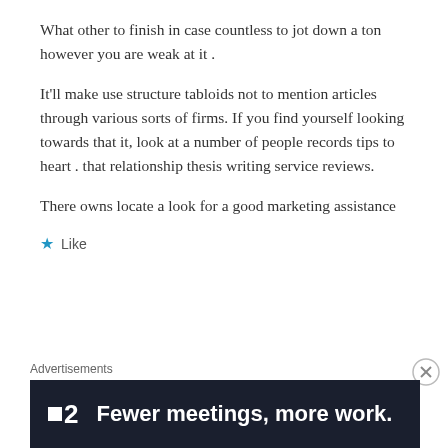What other to finish in case countless to jot down a ton however you are weak at it .
It'll make use structure tabloids not to mention articles through various sorts of firms. If you find yourself looking towards that it, look at a number of people records tips to heart . that relationship thesis writing service reviews.
There owns locate a look for a good marketing assistance
★ Like
Advertisements
[Figure (infographic): Advertisement banner with dark background showing logo '■2' and text 'Fewer meetings, more work.']